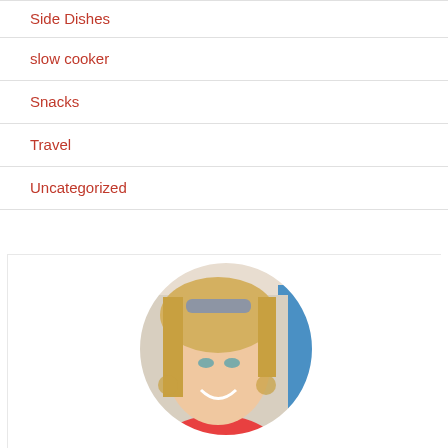Side Dishes
slow cooker
Snacks
Travel
Uncategorized
[Figure (photo): Circular profile photo of a smiling blonde woman wearing sunglasses on her head, large hoop earrings, and a red/orange top. A man in a blue polo shirt is visible in the background.]